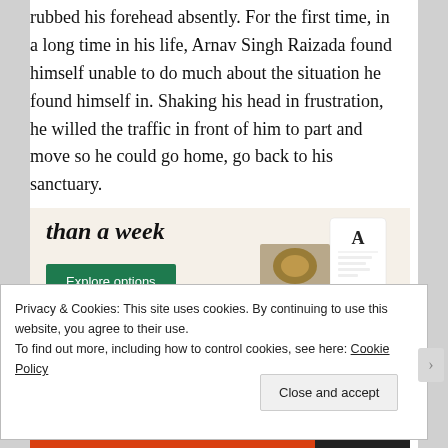rubbed his forehead absently. For the first time, in a long time in his life, Arnav Singh Raizada found himself unable to do much about the situation he found himself in. Shaking his head in frustration, he willed the traffic in front of him to part and move so he could go home, go back to his sanctuary.
[Figure (screenshot): Advertisement banner with italic bold headline 'than a week', a green 'Explore options' button, and UI mockup screenshots on a cream background]
Privacy & Cookies: This site uses cookies. By continuing to use this website, you agree to their use.
To find out more, including how to control cookies, see here: Cookie Policy
Close and accept